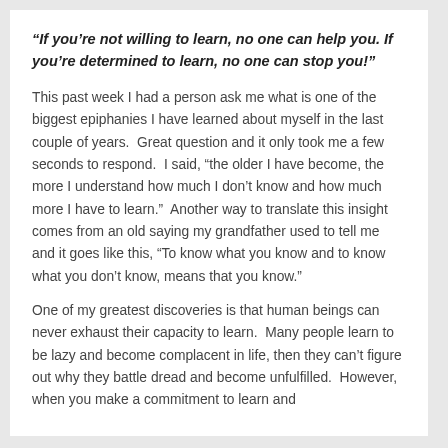“If you’re not willing to learn, no one can help you. If you’re determined to learn, no one can stop you!”
This past week I had a person ask me what is one of the biggest epiphanies I have learned about myself in the last couple of years.  Great question and it only took me a few seconds to respond.  I said, “the older I have become, the more I understand how much I don’t know and how much more I have to learn.”  Another way to translate this insight comes from an old saying my grandfather used to tell me and it goes like this, “To know what you know and to know what you don’t know, means that you know.”
One of my greatest discoveries is that human beings can never exhaust their capacity to learn.  Many people learn to be lazy and become complacent in life, then they can’t figure out why they battle dread and become unfulfilled.  However, when you make a commitment to learn and